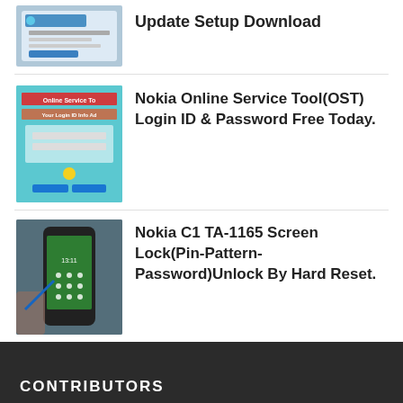[Figure (screenshot): Thumbnail screenshot of a software tool interface (EMC iCloud Bypass Tool), light blue/grey tones]
Update Setup Download
[Figure (screenshot): Thumbnail screenshot for Nokia Online Service Tool (OST) login screen, teal/blue background with text overlay]
Nokia Online Service Tool(OST) Login ID & Password Free Today.
[Figure (photo): Photo of a hand holding a Nokia C1 phone showing a green screen lock pattern]
Nokia C1 TA-1165 Screen Lock(Pin-Pattern-Password)Unlock By Hard Reset.
CONTRIBUTORS